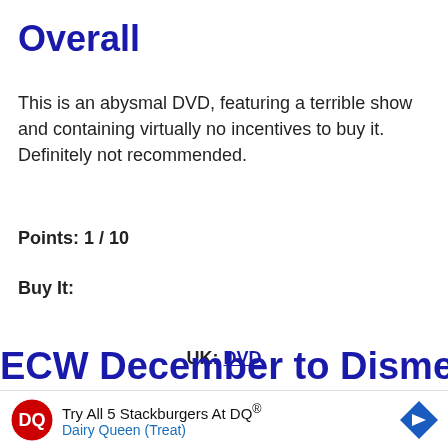Overall
This is an abysmal DVD, featuring a terrible show and containing virtually no incentives to buy it. Definitely not recommended.
Points: 1 / 10
Buy It:
UK: DVD
USA: DVD
ECW December to Dismember
Try All 5 Stackburgers At DQ® Dairy Queen (Treat)